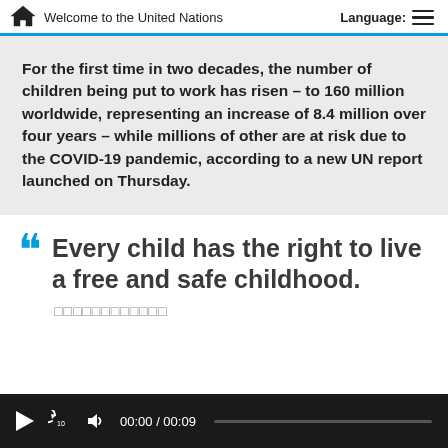Welcome to the United Nations | Language:
For the first time in two decades, the number of children being put to work has risen – to 160 million worldwide, representing an increase of 8.4 million over four years – while millions of other are at risk due to the COVID-19 pandemic, according to a new UN report launched on Thursday.
Every child has the right to live a free and safe childhood.
□□□□□□□□□□□□
00:00 / 00:09